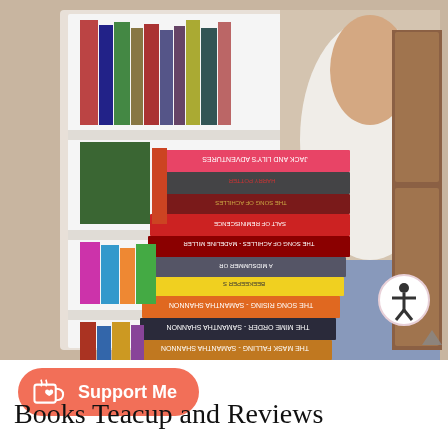[Figure (photo): A person standing in front of a white bookshelf, holding a tall stack of books with spines visible. Books include titles by Samantha Shannon (The Song Rising, The Mime Order, The Mask Falling), and other novels. The bookshelf is filled with various books. Person is wearing a white long-sleeve top and jeans.]
[Figure (logo): Ko-fi Support Me button: coral/salmon rounded rectangle with a white coffee cup icon with a heart, and white text 'Support Me']
Books Teacup and Reviews